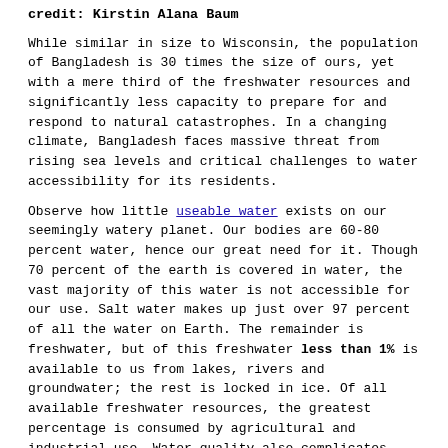credit: Kirstin Alana Baum
While similar in size to Wisconsin, the population of Bangladesh is 30 times the size of ours, yet with a mere third of the freshwater resources and significantly less capacity to prepare for and respond to natural catastrophes. In a changing climate, Bangladesh faces massive threat from rising sea levels and critical challenges to water accessibility for its residents.
Observe how little useable water exists on our seemingly watery planet. Our bodies are 60-80 percent water, hence our great need for it. Though 70 percent of the earth is covered in water, the vast majority of this water is not accessible for our use. Salt water makes up just over 97 percent of all the water on Earth. The remainder is freshwater, but of this freshwater less than 1% is available to us from lakes, rivers and groundwater; the rest is locked in ice. Of all available freshwater resources, the greatest percentage is consumed by agricultural and industrial use. Water quality also complicates access to needed water, as does the spatial and temporal